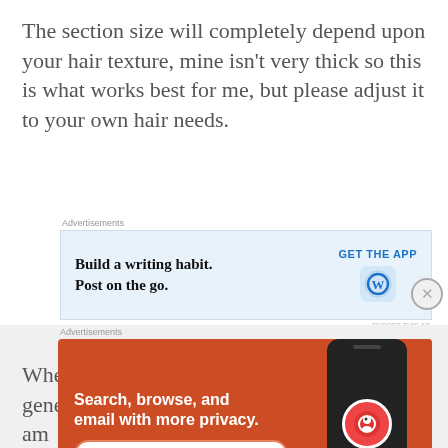The section size will completely depend upon your hair texture, mine isn’t very thick so this is what works best for me, but please adjust it to your own hair needs.
[Figure (other): Advertisement banner: Build a writing habit. Post on the go. GET THE APP with WordPress icon on blue background]
Protect Your Hair
When you have your section ready ensure to generously spray it with a heat protectant, I am
[Figure (other): Advertisement banner: Search, browse, and email with more privacy. All in One Free App. DuckDuckGo app shown on phone mockup, orange background]